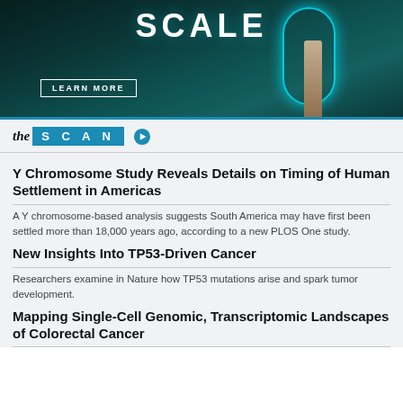[Figure (photo): Advertisement banner with dark teal/green background showing 'SCALE' in large white bold letters, a glowing teal circular arc with a figure, and a 'LEARN MORE' button outline.]
the SCAN
Y Chromosome Study Reveals Details on Timing of Human Settlement in Americas
A Y chromosome-based analysis suggests South America may have first been settled more than 18,000 years ago, according to a new PLOS One study.
New Insights Into TP53-Driven Cancer
Researchers examine in Nature how TP53 mutations arise and spark tumor development.
Mapping Single-Cell Genomic, Transcriptomic Landscapes of Colorectal Cancer